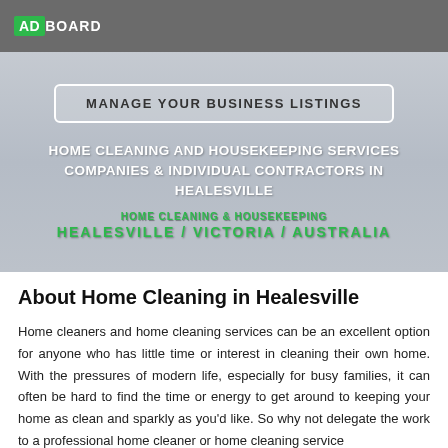ADBOARD
[Figure (other): Hero banner with button and title text: MANAGE YOUR BUSINESS LISTINGS, HOME CLEANING AND HOUSEKEEPING SERVICES COMPANIES & INDIVIDUAL CONTRACTORS IN HEALESVILLE, HOME CLEANING & HOUSEKEEPING HEALESVILLE / VICTORIA / AUSTRALIA]
About Home Cleaning in Healesville
Home cleaners and home cleaning services can be an excellent option for anyone who has little time or interest in cleaning their own home. With the pressures of modern life, especially for busy families, it can often be hard to find the time or energy to get around to keeping your home as clean and sparkly as you'd like. So why not delegate the work to a professional home cleaner or home cleaning service